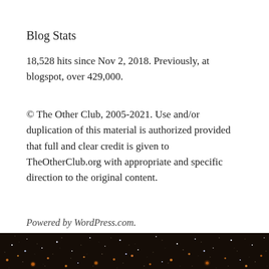Blog Stats
18,528 hits since Nov 2, 2018. Previously, at blogspot, over 429,000.
© The Other Club, 2005-2021. Use and/or duplication of this material is authorized provided that full and clear credit is given to TheOtherClub.org with appropriate and specific direction to the original content.
Powered by WordPress.com.
[Figure (photo): Starfield / star cluster photo strip at the bottom of the page, showing a dense field of stars with orange, white, and blue-white colors against a dark background.]